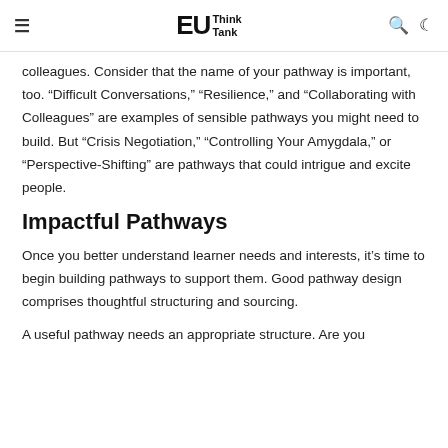EU Think Tank
colleagues. Consider that the name of your pathway is important, too. “Difficult Conversations,” “Resilience,” and “Collaborating with Colleagues” are examples of sensible pathways you might need to build. But “Crisis Negotiation,” “Controlling Your Amygdala,” or “Perspective-Shifting” are pathways that could intrigue and excite people.
Impactful Pathways
Once you better understand learner needs and interests, it’s time to begin building pathways to support them. Good pathway design comprises thoughtful structuring and sourcing.
A useful pathway needs an appropriate structure. Are you